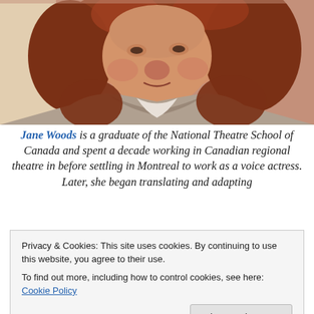[Figure (photo): Portrait photo of a woman with curly red/auburn hair wearing a knit sweater/cardigan, photographed in close-up against a warm background.]
Jane Woods is a graduate of the National Theatre School of Canada and spent a decade working in Canadian regional theatre in before settling in Montreal to work as a voice actress. Later, she began translating and adapting
Privacy & Cookies: This site uses cookies. By continuing to use this website, you agree to their use.
To find out more, including how to control cookies, see here: Cookie Policy
Close and accept